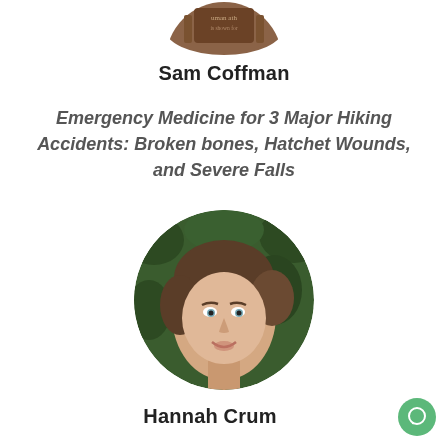[Figure (photo): Partial top view of a round profile photo of Sam Coffman, cropped at top edge showing book/curriculum materials]
Sam Coffman
Emergency Medicine for 3 Major Hiking Accidents: Broken bones, Hatchet Wounds, and Severe Falls
[Figure (photo): Circular portrait photo of Hannah Crum, a woman with dark hair pulled back, smiling, with green foliage background]
Hannah Crum